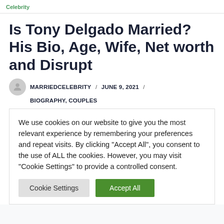Celebrity
Is Tony Delgado Married? His Bio, Age, Wife, Net worth and Disrupt
MARRIEDCELEBRITY / JUNE 9, 2021 / BIOGRAPHY, COUPLES
We use cookies on our website to give you the most relevant experience by remembering your preferences and repeat visits. By clicking "Accept All", you consent to the use of ALL the cookies. However, you may visit "Cookie Settings" to provide a controlled consent.